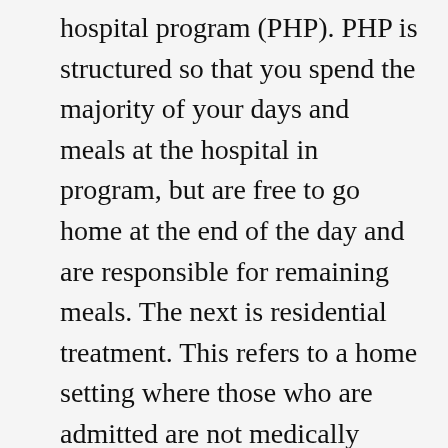hospital program (PHP). PHP is structured so that you spend the majority of your days and meals at the hospital in program, but are free to go home at the end of the day and are responsible for remaining meals. The next is residential treatment. This refers to a home setting where those who are admitted are not medically critical but still need support in their recovery. In residential, there is a staff that works with you in groups for